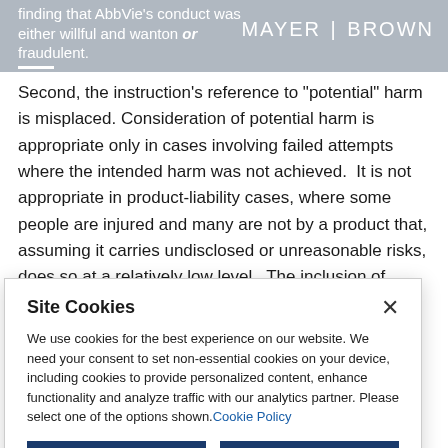finding that AbbVie's conduct was either willful and wanton or fraudulent. MAYER | BROWN
Second, the instruction's reference to “potential” harm is misplaced. Consideration of potential harm is appropriate only in cases involving failed attempts where the intended harm was not achieved. It is not appropriate in product-liability cases, where some people are injured and many are not by a product that, assuming it carries undisclosed or unreasonable risks, does so at a relatively low level. The inclusion of
Site Cookies
We use cookies for the best experience on our website. We need your consent to set non-essential cookies on your device, including cookies to provide personalized content, enhance functionality and analyze traffic with our analytics partner. Please select one of the options shown. Cookie Policy
Accept All   Reject All